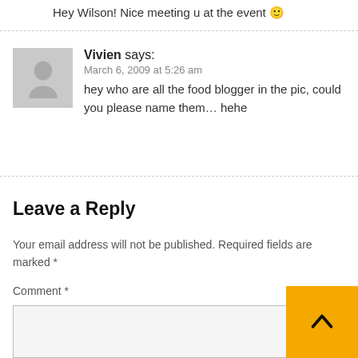Hey Wilson! Nice meeting u at the event 🙂
Vivien says:
March 6, 2009 at 5:26 am
hey who are all the food blogger in the pic, could you please name them… hehe
Leave a Reply
Your email address will not be published. Required fields are marked *
Comment *